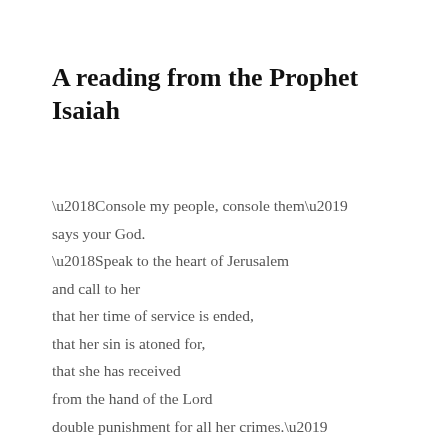A reading from the Prophet Isaiah
‘Console my people, console them’ says your God. ‘Speak to the heart of Jerusalem and call to her that her time of service is ended, that her sin is atoned for, that she has received from the hand of the Lord double punishment for all her crimes.’ A voice cries, ‘Prepare in the wilderness a way for the Lord